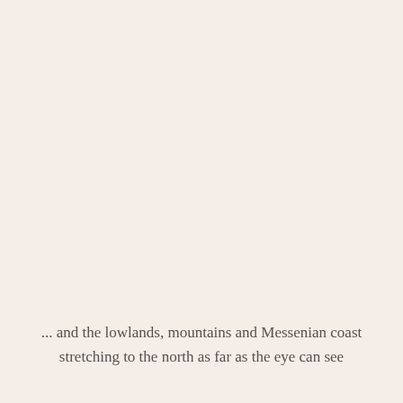... and the lowlands, mountains and Messenian coast stretching to the north as far as the eye can see